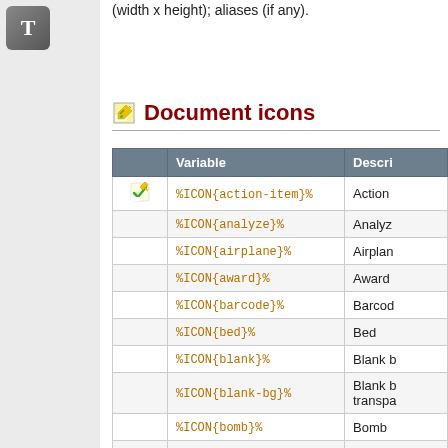(width x height); aliases (if any).
Document icons
|  | Variable | Descri[ption] |
| --- | --- | --- |
| [icon] | %ICON{action-item}% | Action |
|  | %ICON{analyze}% | Analyz[e] |
|  | %ICON{airplane}% | Airplan[e] |
|  | %ICON{award}% | Award |
|  | %ICON{barcode}% | Barcod[e] |
|  | %ICON{bed}% | Bed |
|  | %ICON{blank}% | Blank [...] |
|  | %ICON{blank-bg}% | Blank [...] transpa[rent] |
|  | %ICON{bomb}% | Bomb |
|  | %ICON{book}% | Book |
|  | %ICON{bridge}% | Bridge |